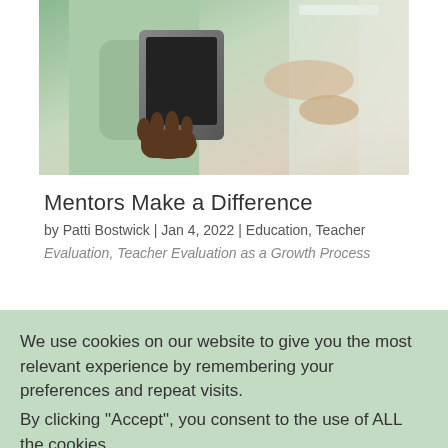[Figure (photo): Two people, one holding a tablet, photographed in a classroom or office setting. Cropped to show hands and torsos.]
Mentors Make a Difference
by Patti Bostwick | Jan 4, 2022 | Education, Teacher
Evaluation, Teacher Evaluation as a Growth Process
We use cookies on our website to give you the most relevant experience by remembering your preferences and repeat visits.
By clicking “Accept”, you consent to the use of ALL the cookies.
Do not sell my personal information·
SETTINGS   ACCEPT